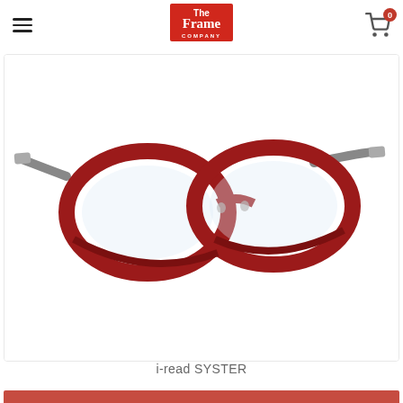The Frame Company
[Figure (photo): Red and clear oval-shaped reading glasses (i-read SYSTER) displayed at an angle on a white background, with gray/transparent temples]
i-read SYSTER